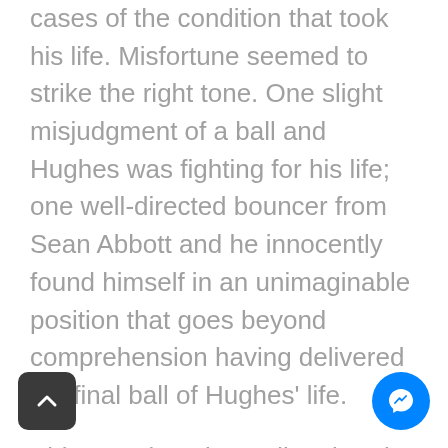cases of the condition that took his life. Misfortune seemed to strike the right tone. One slight misjudgment of a ball and Hughes was fighting for his life; one well-directed bouncer from Sean Abbott and he innocently found himself in an unimaginable position that goes beyond comprehension having delivered the final ball of Hughes' life.
Abbott took an immediate break from the game, but he returned to training soon after and went on to make international debuts in t20 and 50-over cricket after success in the shorter forms of the game. After falling out of selectorial favour for some time, Abbott made a return to the national team earlier this November. While